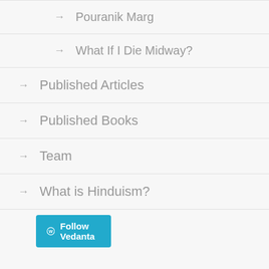→ Pouranik Marg
→ What If I Die Midway?
→ Published Articles
→ Published Books
→ Team
→ What is Hinduism?
Follow Vedanta